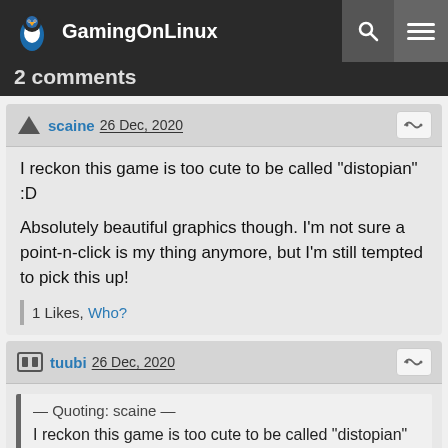GamingOnLinux
2 comments
scaine 26 Dec, 2020
I reckon this game is too cute to be called "distopian" :D

Absolutely beautiful graphics though. I'm not sure a point-n-click is my thing anymore, but I'm still tempted to pick this up!
1 Likes, Who?
tuubi 26 Dec, 2020
— Quoting: scaine —
I reckon this game is too cute to be called "distopian" :D